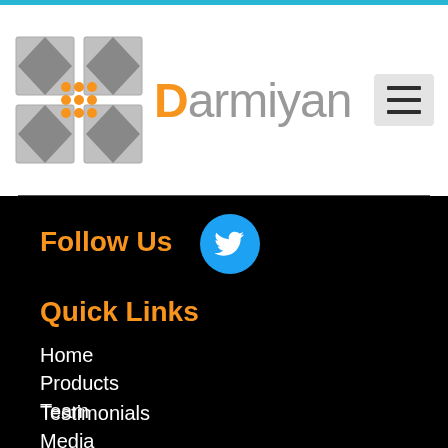[Figure (logo): Darmiyan company logo with geometric tile icon and orange D letter in brand name]
Follow Us
[Figure (illustration): Twitter/X social media icon - blue circle with white bird logo]
Quick Links
Home
Products
Team
Technology
Testimonials
Media